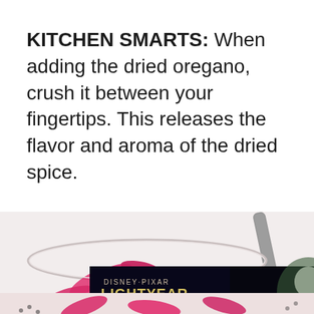KITCHEN SMARTS: When adding the dried oregano, crush it between your fingertips. This releases the flavor and aroma of the dried spice.
[Figure (photo): A glass jar containing bright pink/red pickled onions with a silver spoon resting in it, photographed from above against a white background. Bottom portion of image shows an advertisement for Disney+ Lightyear 'Now streaming' with Sign Up button.]